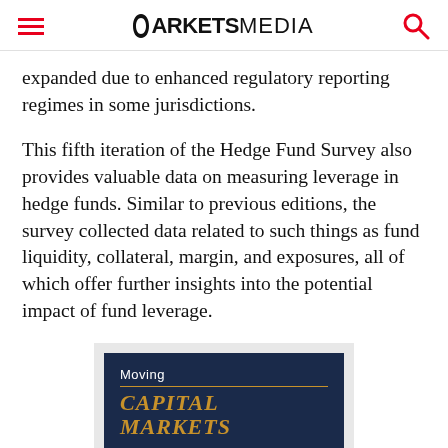MARKETSMEDIA
expanded due to enhanced regulatory reporting regimes in some jurisdictions.
This fifth iteration of the Hedge Fund Survey also provides valuable data on measuring leverage in hedge funds. Similar to previous editions, the survey collected data related to such things as fund liquidity, collateral, margin, and exposures, all of which offer further insights into the potential impact of fund leverage.
[Figure (illustration): Book or publication promo card with dark navy background showing 'Moving' text and 'CAPITAL MARKETS' in gold italic serif letters with a gold horizontal rule between them.]